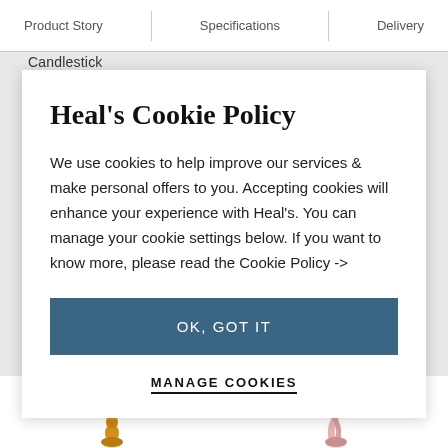Product Story   Specifications   Delivery
Candlestick
Heal's Cookie Policy
We use cookies to help improve our services & make personal offers to you. Accepting cookies will enhance your experience with Heal's. You can manage your cookie settings below. If you want to know more, please read the Cookie Policy ->
OK, GOT IT
MANAGE COOKIES
[Figure (photo): Two product images of candlesticks partially visible at the bottom of the page — left shows amber/yellow beaded candlestick, right shows pink/rose twisted candlestick]